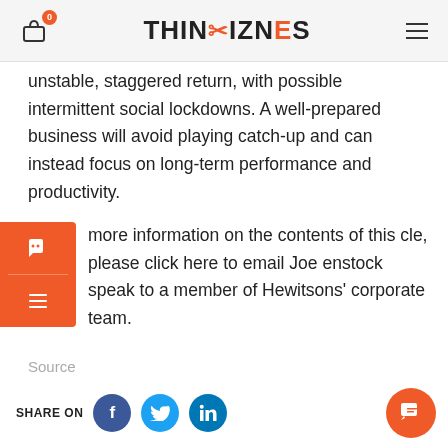THINOIZNES
unstable, staggered return, with possible intermittent social lockdowns. A well-prepared business will avoid playing catch-up and can instead focus on long-term performance and productivity.
more information on the contents of this cle, please click here to email Joe enstock speak to a member of Hewitsons' corporate team.
Source
SHARE ON